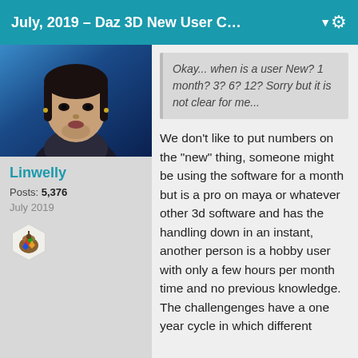July, 2019 – Daz 3D New User C… ▼
[Figure (photo): User avatar photo of Linwelly showing a person with tattoos and dark clothing]
Linwelly
Posts: 5,376
July 2019
[Figure (illustration): Hexagonal badge icon with colorful design]
Okay... when is a user New? 1 month? 3? 6? 12? Sorry but it is not clear for me...
We don't like to put numbers on the "new" thing, someone might be using the software for a month but is a pro on maya or whatever other 3d software and has the handling down in an instant, another person is a hobby user with only a few hours per month time and no previous knowledge.  The challengenges have a one year cycle in which different